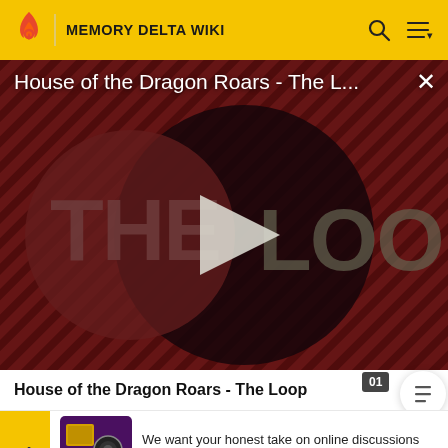MEMORY DELTA WIKI
[Figure (screenshot): Video thumbnail for 'House of the Dragon Roars - The Loop' showing 'THE LOOP' text on a dark red diagonal striped background with a large circular dark overlay and a play button triangle in the center. Title overlay reads 'House of the Dragon Roars - The L...' with an X close button.]
House of the Dragon Roars - The Loop
We want your honest take on online discussions
SURVEY: ONLINE FORUMS